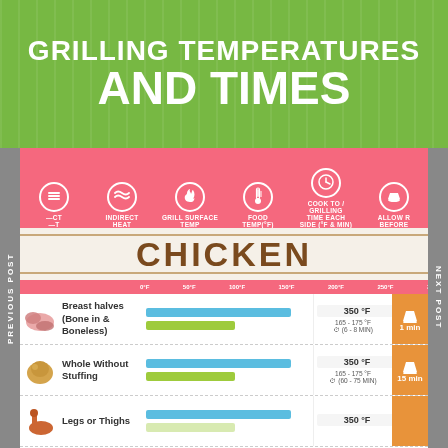GRILLING TEMPERATURES AND TIMES
[Figure (infographic): Grilling temperatures and times infographic for chicken. Shows icon legend row with: Direct Heat, Indirect Heat, Grill Surface Temp, Food Temp (°F), Cook To/Grilling Time Each Side (°F & Min), Allow Rest Before. Chicken section with rows: Breast halves (Bone in & Boneless) - 350°F, 165-175°F (6-8 MIN), 1 min rest; Whole Without Stuffing - 350°F, 165-175°F (60-75 MIN), 15 min rest; Legs or Thighs - 350°F.]
PREVIOUS POST
NEXT POST